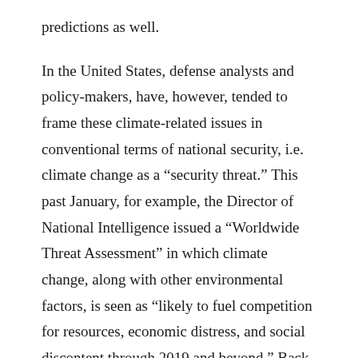predictions as well.
In the United States, defense analysts and policy-makers, have, however, tended to frame these climate-related issues in conventional terms of national security, i.e. climate change as a “security threat.” This past January, for example, the Director of National Intelligence issued a “Worldwide Threat Assessment” in which climate change, along with other environmental factors, is seen as “likely to fuel competition for resources, economic distress, and social discontent through 2019 and beyond.” Back in 2017, the U.S. Congress included language in a defense policy bill to indicate that climate change “is a direct threat to the national security of the United States and is impacting